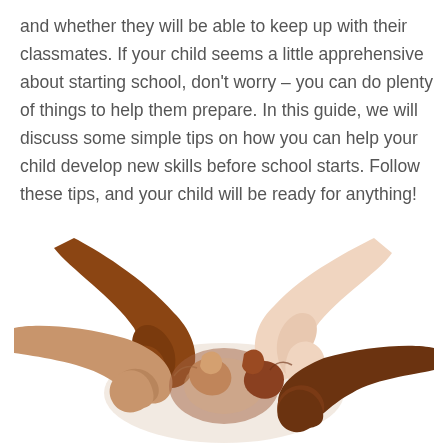and whether they will be able to keep up with their classmates. If your child seems a little apprehensive about starting school, don't worry – you can do plenty of things to help them prepare. In this guide, we will discuss some simple tips on how you can help your child develop new skills before school starts. Follow these tips, and your child will be ready for anything!
[Figure (photo): A photograph of four hands of different skin tones gripping each other's wrists in a circle, symbolizing unity and teamwork.]